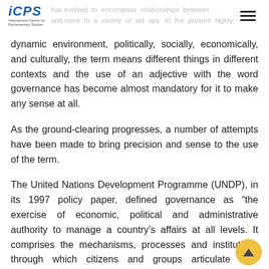iCPS
has evolved to encompass relationships between and stakeholders to a variety of set ups. In the present highly dynamic environment, politically, socially, economically, and culturally, the term means different things in different contexts and the use of an adjective with the word governance has become almost mandatory for it to make any sense at all.
As the ground-clearing progresses, a number of attempts have been made to bring precision and sense to the use of the term.
The United Nations Development Programme (UNDP), in its 1997 policy paper, defined governance as “the exercise of economic, political and administrative authority to manage a country’s affairs at all levels. It comprises the mechanisms, processes and institutions through which citizens and groups articulate their interests, exercise their legal rights, meet their obligations and mediate their differences”. This definition was endorsed by the Secretary-General’s inter-agency sub-task force to promote integrated responses to United Nations